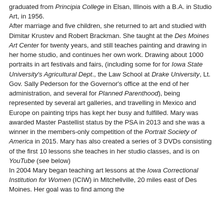graduated from Principia College in Elsan, Illinois with a B.A. in Studio Art, in 1956. After marriage and five children, she returned to art and studied with Dimitar Krustev and Robert Brackman. She taught at the Des Moines Art Center for twenty years, and still teaches painting and drawing in her home studio, and continues her own work. Drawing about 1000 portraits in art festivals and fairs, (including some for for Iowa State University's Agricultural Dept., the Law School at Drake University, Lt. Gov. Sally Pederson for the Governor's office at the end of her administration, and several for Planned Parenthood), being represented by several art galleries, and travelling in Mexico and Europe on painting trips has kept her busy and fulfilled. Mary was awarded Master Pastellist status by the PSA in 2013 and she was a winner in the members-only competition of the Portrait Society of America in 2015. Mary has also created a series of 3 DVDs consisting of the first 10 lessons she teaches in her studio classes, and is on YouTube (see below) In 2004 Mary began teaching art lessons at the Iowa Correctional Institution for Women (ICIW) in Mitchellville, 20 miles east of Des Moines. Her goal was to find among the